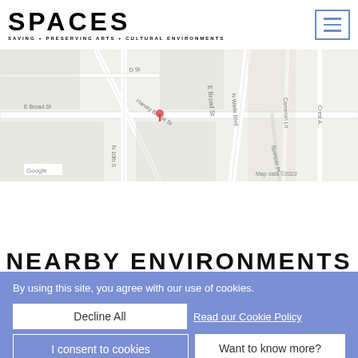SPACES — SAVING + PRESERVING ARTS + CULTURAL ENVIRONMENTS
[Figure (map): Google Maps screenshot showing street map centered around E Broad St and N Wade Blvd area. Shows streets including D St, Harvey Bridge St, E Broad St, N 10th S, N Wade Blvd, Crest Ave, Cameron Ln, Spencer Pl. Google logo visible bottom left. Map data ©2022 label bottom right.]
VIEW LARGER MAP IN NEW WINDOW
NEARBY ENVIRONMENTS
By using this site, you agree with our use of cookies.
Decline All
Read our Cookie Policy
I consent to cookies
Want to know more?